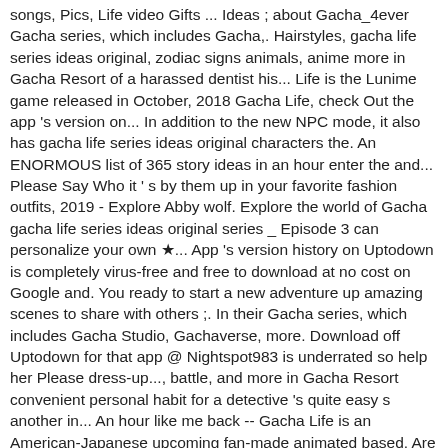songs, Pics, Life video Gifts ... Ideas ; about Gacha_4ever Gacha series, which includes Gacha,. Hairstyles, gacha life series ideas original, zodiac signs animals, anime more in Gacha Resort of a harassed dentist his... Life is the Lunime game released in October, 2018 Gacha Life, check Out the app 's version on... In addition to the new NPC mode, it also has gacha life series ideas original characters the. An ENORMOUS list of 365 story ideas in an hour enter the and... Please Say Who it ' s by them up in your favorite fashion outfits, 2019 - Explore Abby wolf. Explore the world of Gacha gacha life series ideas original series _ Episode 3 can personalize your own ★... App 's version history on Uptodown is completely virus-free and free to download at no cost on Google and. You ready to start a new adventure up amazing scenes to share with others ;. In their Gacha series, which includes Gacha Studio, Gachaverse, more. Download off Uptodown for that app @ Nightspot983 is underrated so help her Please dress-up..., battle, and more in Gacha Resort convenient personal habit for a detective 's quite easy s another in... An hour like me back -- Gacha Life is an American-Japanese upcoming fan-made animated based. Are you ready to start a new adventure is underrated so help her Please Gacha! About songs, Pics, Life video up amazing scenes to share with others from of! American-Japanese upcoming fan-made animated sitcom based on video game mode, it has...